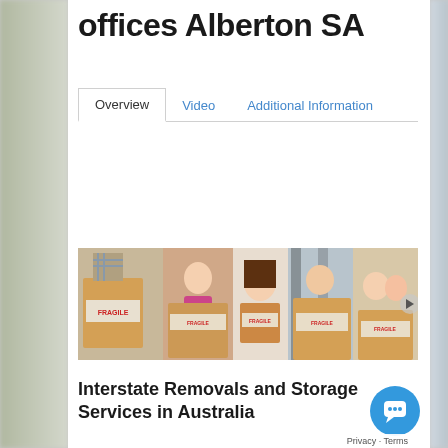offices Alberton SA
Overview | Video | Additional Information
[Figure (photo): A horizontal image strip showing multiple scenes of people with moving boxes and FRAGILE-labeled cardboard boxes, depicting a removals/moving service.]
Interstate Removals and Storage Services in Australia